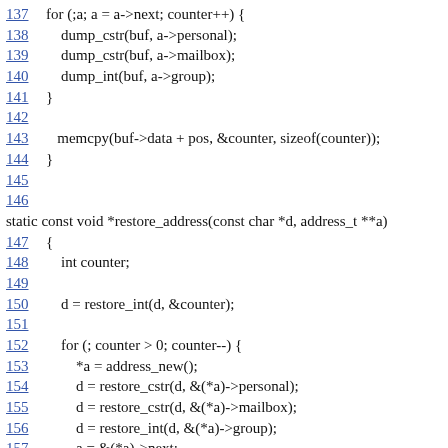Source code listing, lines 137–161, showing dump and restore address functions in C
137    for (;a; a = a->next; counter++) {
138        dump_cstr(buf, a->personal);
139        dump_cstr(buf, a->mailbox);
140        dump_int(buf, a->group);
141    }
142
143    memcpy(buf->data + pos, &counter, sizeof(counter));
144 }
145
146
static const void *restore_address(const char *d, address_t **a)
147 {
148    int counter;
149
150    d = restore_int(d, &counter);
151
152    for (; counter > 0; counter--) {
153        *a = address_new();
154        d = restore_cstr(d, &(*a)->personal);
155        d = restore_cstr(d, &(*a)->mailbox);
156        d = restore_int(d, &(*a)->group);
157        a = &(*a)->next;
158    }
159
160    *a = NULL;
161    return d;